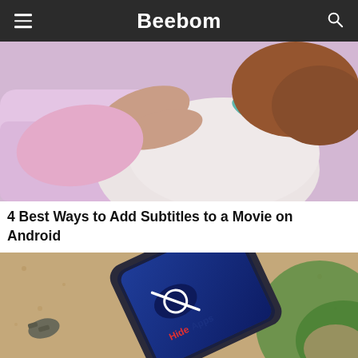Beebom
[Figure (photo): Person lying down in pink pajamas with a teal bracelet on wrist, blurred close-up photo]
4 Best Ways to Add Subtitles to a Movie on Android
[Figure (photo): OnePlus smartphone lying on a cork/sandy surface with a Hide Apps logo on screen, with keys visible to the left and greenery in background]